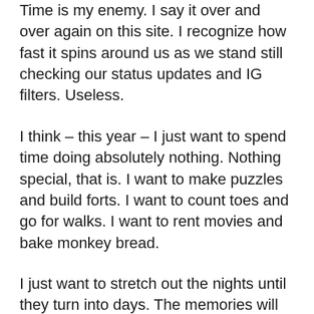Time is my enemy. I say it over and over again on this site. I recognize how fast it spins around us as we stand still checking our status updates and IG filters. Useless.
I think – this year – I just want to spend time doing absolutely nothing. Nothing special, that is. I want to make puzzles and build forts. I want to count toes and go for walks. I want to rent movies and bake monkey bread.
I just want to stretch out the nights until they turn into days. The memories will last longer that way. There are only four more years left until college. And then what?